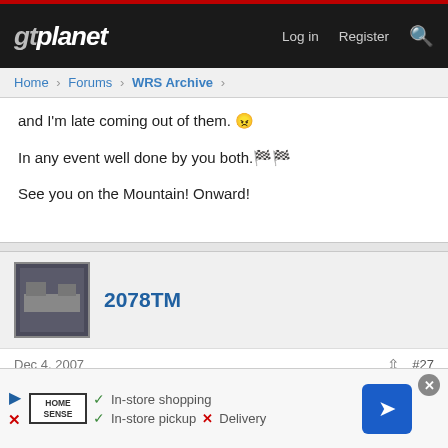gtplanet — Log in  Register
Home > Forums > WRS Archive >
and I'm late coming out of them. 😠
In any event well done by you both.🏁🏁
See you on the Mountain! Onward!
2078TM
Dec 4, 2007  #27
Erik, congrats on the promotion - I was about to make a comment that you needed to be boosted up to R1 and then I saw that it had